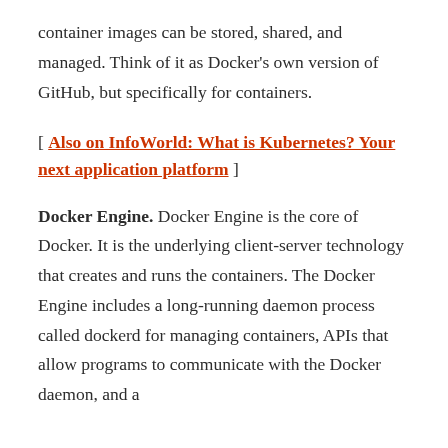container images can be stored, shared, and managed. Think of it as Docker's own version of GitHub, but specifically for containers.
[ Also on InfoWorld: What is Kubernetes? Your next application platform ]
Docker Engine. Docker Engine is the core of Docker. It is the underlying client-server technology that creates and runs the containers. The Docker Engine includes a long-running daemon process called dockerd for managing containers, APIs that allow programs to communicate with the Docker daemon, and a